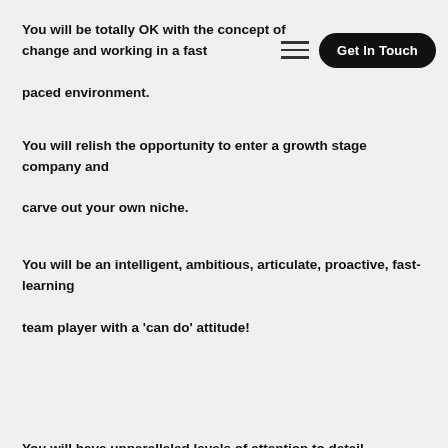You will be totally OK with the concept of change and working in a fast paced environment.
You will relish the opportunity to enter a growth stage company and carve out your own niche.
You will be an intelligent, ambitious, articulate, proactive, fast-learning team player with a ‘can do’ attitude!
You will have unparalleled levels of attention to detail, bordering on fastidious. You will be totally OK with the concept of change and working in a fast paced environment. You will relish the opportunity to enter a new company and carve out your own niche. You will be an intelligent, ambitious, articulate, proactive, fast-learning team player with a ‘can do’